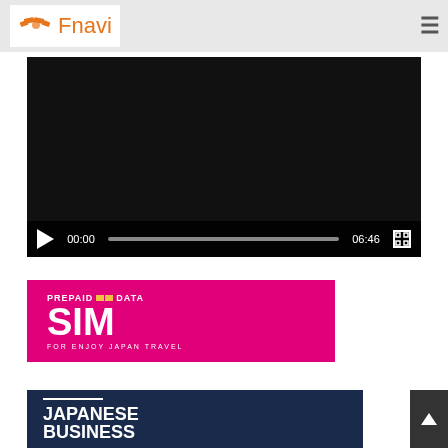Fnavi
[Figure (screenshot): Video player with black background, playback controls showing time 00:00 and duration 06:46, progress bar, and fullscreen button]
[Figure (screenshot): Prepaid Data SIM card advertisement banner with magenta/pink background. Text reads: PREPAID DATA SIM FOR ENJOY JAPAN TRAVEL]
[Figure (screenshot): Japanese Business banner with dark navy background. Text reads: JAPANESE BUSINESS with white horizontal line above]